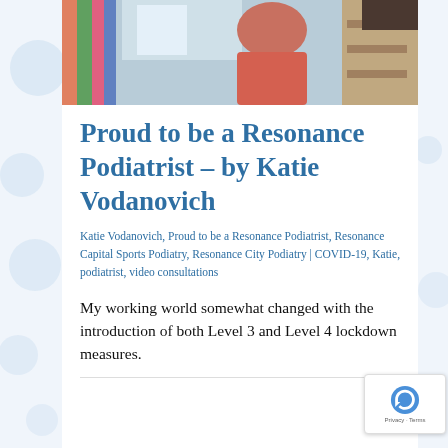[Figure (photo): Photo of a person in a red/pink long-sleeve top sitting indoors near a window with colorful curtains and shelving visible in the background.]
Proud to be a Resonance Podiatrist – by Katie Vodanovich
Katie Vodanovich, Proud to be a Resonance Podiatrist, Resonance Capital Sports Podiatry, Resonance City Podiatry | COVID-19, Katie, podiatrist, video consultations
My working world somewhat changed with the introduction of both Level 3 and Level 4 lockdown measures.